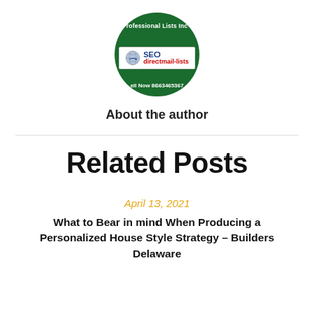[Figure (logo): Circular green logo for SEO directmail-lists with globe icon, text 'Professional Lists Inc' at top and 'Call Now 8663465367' at bottom]
About the author
Related Posts
April 13, 2021
What to Bear in mind When Producing a Personalized House Style Strategy – Builders Delaware